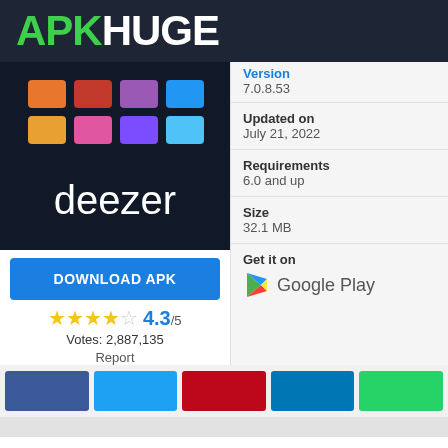APKHUGE
[Figure (logo): Deezer app icon showing colorful grid of squares on dark background with 'deezer' text]
DOWNLOAD APK
★★★★☆ 4.3/5
Votes: 2,887,135
Report
Version
7.0.8.53
Updated on
July 21, 2022
Requirements
6.0 and up
Size
32.1 MB
Get it on
Google Play
DESCRIPTION